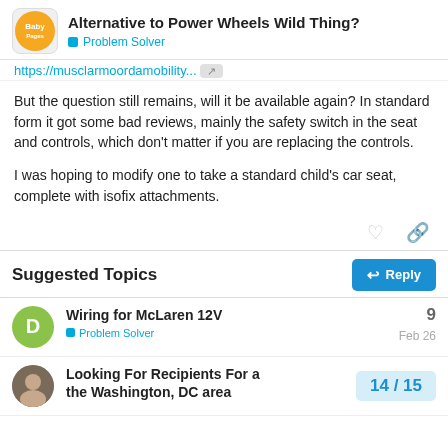Alternative to Power Wheels Wild Thing? — Problem Solver
https://muscularmoordamobility... [link truncated]
But the question still remains, will it be available again? In standard form it got some bad reviews, mainly the safety switch in the seat and controls, which don't matter if you are replacing the controls.
I was hoping to modify one to take a standard child's car seat, complete with isofix attachments.
Suggested Topics
Wiring for McLaren 12V — Problem Solver — Feb 26 — 9 replies
Looking For Recipients For a the Washington, DC area — 14 / 15